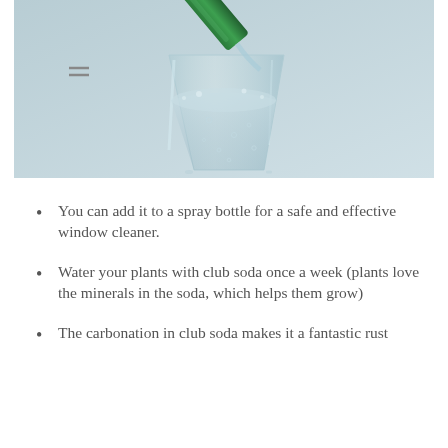[Figure (photo): A green bottle pouring sparkling water into a clear drinking glass, with bubbles visible, against a light blue-grey background.]
You can add it to a spray bottle for a safe and effective window cleaner.
Water your plants with club soda once a week (plants love the minerals in the soda, which helps them grow)
The carbonation in club soda makes it a fantastic rust